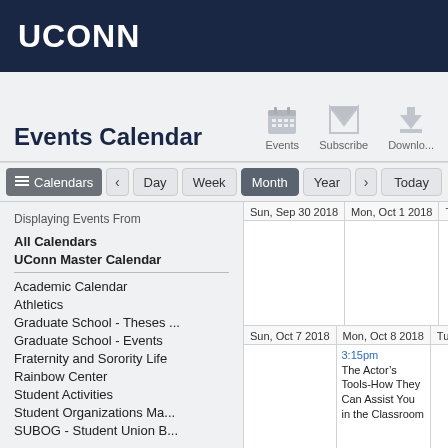UCONN
Events Calendar
Events
Subscribe
Download
Calendars  Day  Week  Month  Year  Today
Displaying Events From
All Calendars
UConn Master Calendar
Academic Calendar
Athletics
Graduate School - Theses ...
Graduate School - Events
Fraternity and Sorority Life
Rainbow Center
Student Activities
Student Organizations Ma...
SUBOG - Student Union B...
| Sun, Sep 30 2018 | Mon, Oct 1 2018 | Tue, O... |
| --- | --- | --- |
|  |  |  |
| Sun, Oct 7 2018 | Mon, Oct 8 2018 | Tue, O... |
|  | 3:15pm
The Actor’s Tools-How They Can Assist You in the Classroom |  |